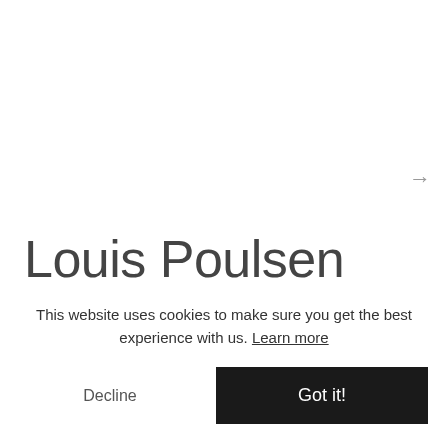[Figure (other): Right-arrow navigation icon in gray]
Louis Poulsen PH 3/2 Pendant Light
This website uses cookies to make sure you get the best experience with us. Learn more
Decline
Got it!